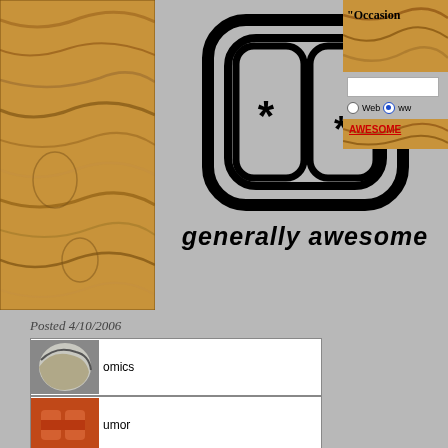[Figure (screenshot): Website screenshot showing generally awesome website header with wood-textured banner, GA logo, navigation items for Comics, Humor, Archive, Pirates, Photos, and a right panel with search and Awesome link]
Posted 4/10/2006
Comics
Humor
Archive
Pirates
Photos